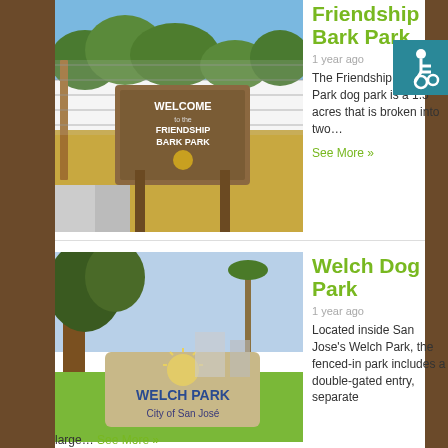Friendship Bark Park
[Figure (photo): Welcome sign for Friendship Bark Park with chain-link fence and trees in background]
1 year ago
The Friendship Bark Park dog park is a 1.5 acres that is broken into two…
See More »
Welch Dog Park
[Figure (photo): Welch Park sign — City of San José, with large tree and grass in background]
1 year ago
Located inside San Jose's Welch Park, the fenced-in park includes a double-gated entry, separate
large…
See More »